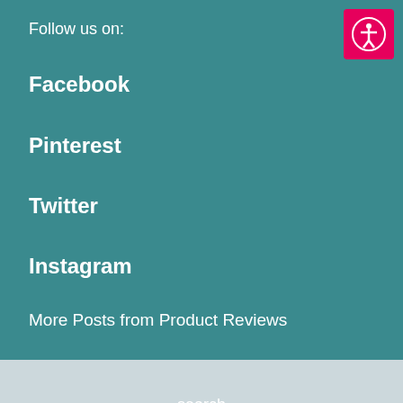Follow us on:
Facebook
Pinterest
Twitter
Instagram
More Posts from Product Reviews
search
Search...